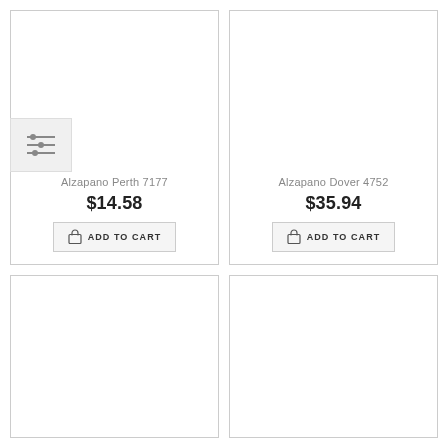[Figure (screenshot): Filter/sliders icon button in top-left overlay]
Alzapano Perth 7177
$14.58
ADD TO CART
Alzapano Dover 4752
$35.94
ADD TO CART
[Figure (screenshot): Empty product card bottom left]
[Figure (screenshot): Empty product card bottom right]